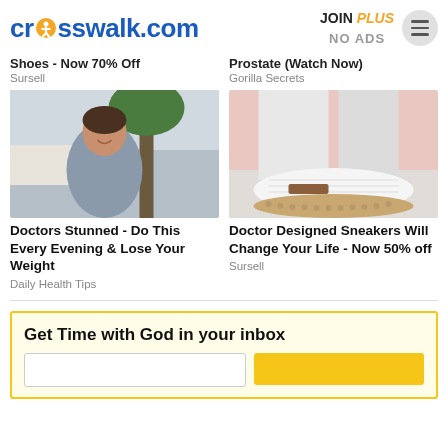crosswalk.com | JOIN PLUS NO ADS
Shoes - Now 70% Off
Sursell
Prostate (Watch Now)
Gorilla Secrets
[Figure (photo): Photo of a smiling woman in a grey top outdoors near trees]
Doctors Stunned - Do This Every Evening & Lose Your Weight
Daily Health Tips
[Figure (photo): Close-up photo of white slip-on sneakers with a woven pattern and espadrille sole]
Doctor Designed Sneakers Will Change Your Life - Now 50% off
Sursell
Get Time with God in your inbox